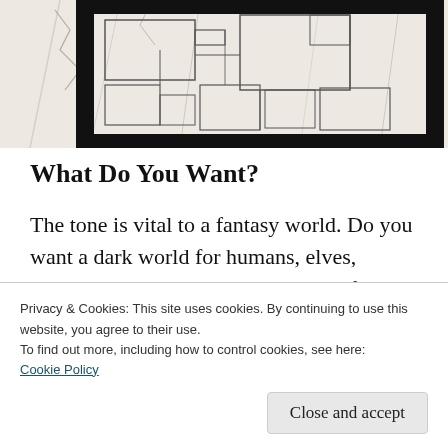[Figure (map): Partial view of a fantasy map with grid lines, geometric room/region outlines, showing floor plans or dungeon layout with thick black border frame. Light grey background with darker grey lines.]
What Do You Want?
The tone is vital to a fantasy world. Do you want a dark world for humans, elves, dwarves, and orcs? Do you want halflings and gnomes in your world? Crowdudes, mouselings, and
Privacy & Cookies: This site uses cookies. By continuing to use this website, you agree to their use.
To find out more, including how to control cookies, see here:
Cookie Policy
Close and accept